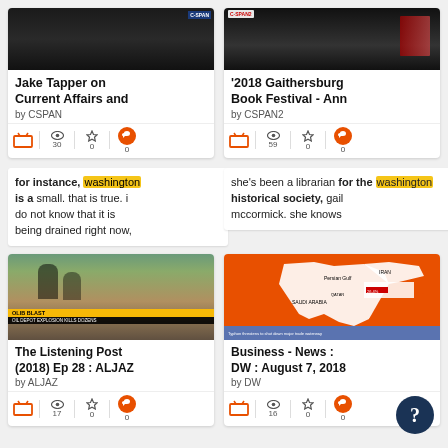[Figure (screenshot): Video thumbnail for Jake Tapper on Current Affairs - dark/broadcast style]
Jake Tapper on Current Affairs and
by CSPAN
30 views, 0 stars, 0 quotes
for instance, washington is a small. that is true. i do not know that it is being drained right now,
[Figure (screenshot): Video thumbnail for 2018 Gaithersburg Book Festival - dark broadcast style]
'2018 Gaithersburg Book Festival - Ann
by CSPAN2
59 views, 0 stars, 0 quotes
she's been a librarian for the washington historical society, gail mccormick. she knows
[Figure (screenshot): Video thumbnail - The Listening Post ALJAZ news broadcast showing explosion]
The Listening Post (2018) Ep 28 : ALJAZ
by ALJAZ
17 views, 0 stars, 0 quotes
[Figure (screenshot): Video thumbnail - DW Business News showing map of Middle East/Gulf region in orange]
Business - News : DW : August 7, 2018
by DW
16 views, 0 stars, 0 quotes